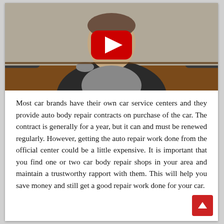[Figure (screenshot): A YouTube video thumbnail showing a man in a dark blazer over a gray shirt seated at a conference table, with a red YouTube play button overlay in the center of the image.]
Most car brands have their own car service centers and they provide auto body repair contracts on purchase of the car. The contract is generally for a year, but it can and must be renewed regularly. However, getting the auto repair work done from the official center could be a little expensive. It is important that you find one or two car body repair shops in your area and maintain a trustworthy rapport with them. This will help you save money and still get a good repair work done for your car.